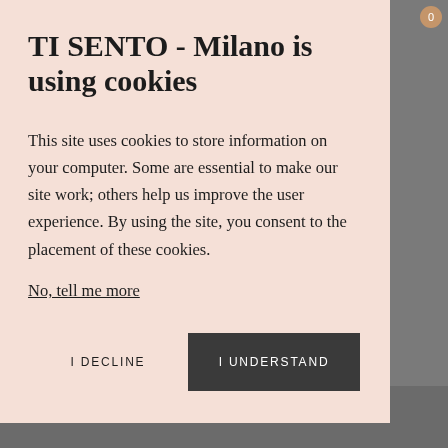TI SENTO - Milano is using cookies
This site uses cookies to store information on your computer. Some are essential to make our site work; others help us improve the user experience. By using the site, you consent to the placement of these cookies.
No, tell me more
I DECLINE
I UNDERSTAND
· A touch of magic
ADD TO CART